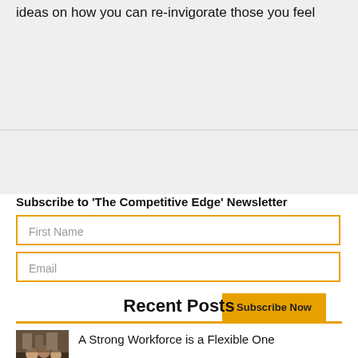ideas on how you can re-invigorate those you feel
[Figure (other): Gray placeholder image block]
Subscribe to 'The Competitive Edge' Newsletter
First Name
Email
Subscribe Now
Recent Posts
[Figure (photo): Small thumbnail photo of people in a workplace setting]
A Strong Workforce is a Flexible One